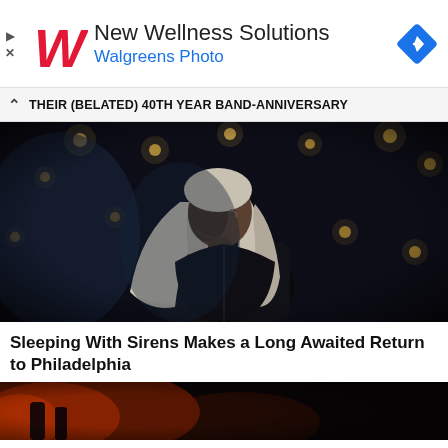[Figure (infographic): Walgreens advertisement banner with red italic W logo, text 'New Wellness Solutions' and 'Walgreens Photo', and a blue diamond navigation icon on the right. Play and close controls on the left.]
THEIR (BELATED) 40TH YEAR BAND-ANNIVERSARY
[Figure (photo): Concert photograph of a long-haired musician in a black leather jacket looking upward, backlit by warm stage lights against a dark background.]
Sleeping With Sirens Makes a Long Awaited Return to Philadelphia
[Figure (photo): Partial bottom image showing a dark concert scene with warm reddish-orange stage lighting.]